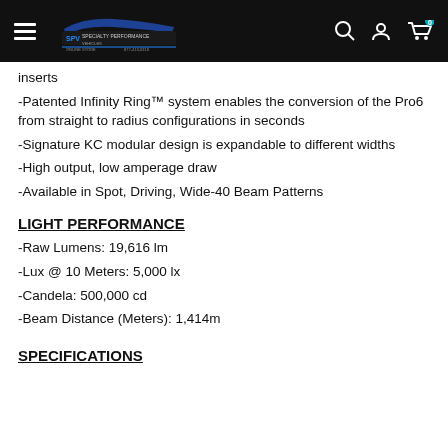SPV Specialty Performance — navigation bar
inserts
-Patented Infinity Ring™ system enables the conversion of the Pro6 from straight to radius configurations in seconds
-Signature KC modular design is expandable to different widths
-High output, low amperage draw
-Available in Spot, Driving, Wide-40 Beam Patterns
LIGHT PERFORMANCE
-Raw Lumens: 19,616 lm
-Lux @ 10 Meters: 5,000 lx
-Candela: 500,000 cd
-Beam Distance (Meters): 1,414m
SPECIFICATIONS